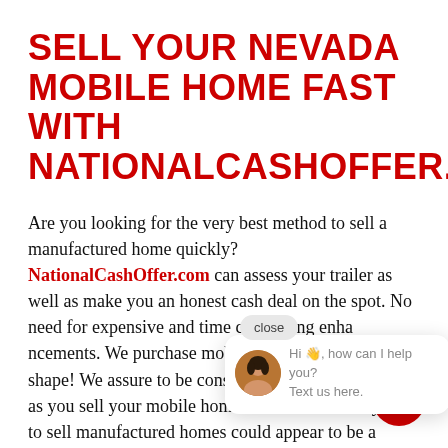SELL YOUR NEVADA MOBILE HOME FAST WITH NATIONALCASHOFFER.COM!
Are you looking for the very best method to sell a manufactured home quickly? NationalCashOffer.com can assess your trailer as well as make you an honest cash deal on the spot. No need for expensive and time consuming enhancements. We purchase mobile homes in "as is" shape! We assure to be considerate and professional as you sell your mobile home to us. We know trying to sell manufactured homes could appear to be a complex procedure, so we have streamlined it to be a much simpler 3-step procedure. 1st
[Figure (screenshot): Chat popup overlay showing a female avatar photo and the message 'Hi, how can I help you? Text us here.' with a close button]
[Figure (illustration): Red circular chat/message icon button in the bottom-right corner of the page]